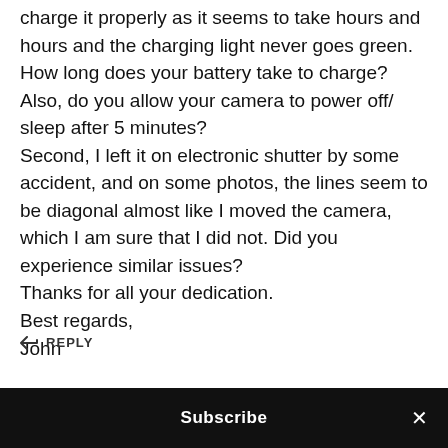charge it properly as it seems to take hours and hours and the charging light never goes green. How long does your battery take to charge? Also, do you allow your camera to power off/ sleep after 5 minutes?
Second, I left it on electronic shutter by some accident, and on some photos, the lines seem to be diagonal almost like I moved the camera, which I am sure that I did not. Did you experience similar issues?
Thanks for all your dedication.
Best regards,
John
REPLY
Subscribe